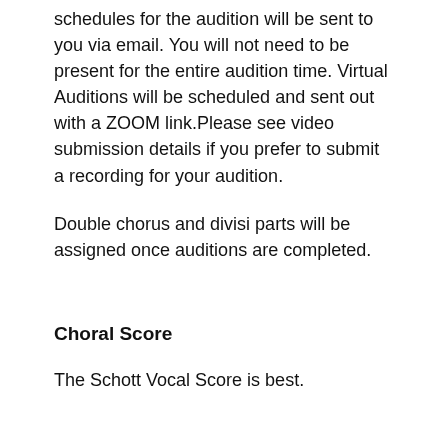schedules for the audition will be sent to you via email. You will not need to be present for the entire audition time. Virtual Auditions will be scheduled and sent out with a ZOOM link.Please see video submission details if you prefer to submit a recording for your audition.
Double chorus and divisi parts will be assigned once auditions are completed.
Choral Score
The Schott Vocal Score is best.